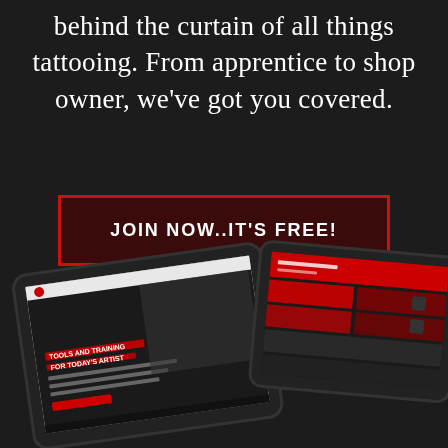behind the curtain of all things tattooing. From apprentice to shop owner, we've got you covered.
JOIN NOW..IT'S FREE!
[Figure (screenshot): Two tablet devices showing a tattoo training website. Left tablet shows a dark themed website with text 'TOOLS AND TRAINING FOR TODAY'S ARTIST'. Right tablet shows a red and dark themed interface with various menu sections.]